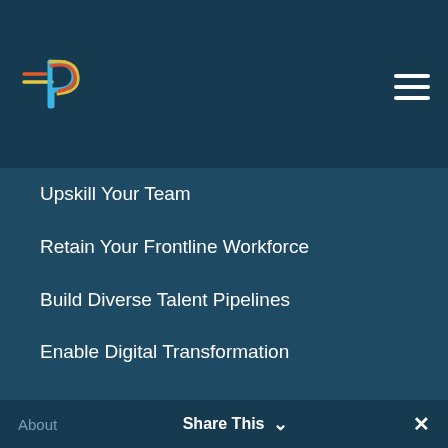[Figure (logo): Pathstream logo - colorful P letter with arrow lines]
Upskill Your Team
Retain Your Frontline Workforce
Build Diverse Talent Pipelines
Enable Digital Transformation
Resources
Resource Library
Blog
Company
About   Share This ∨   ✕